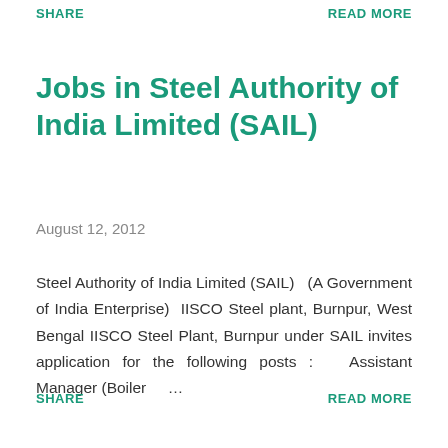SHARE    READ MORE
Jobs in Steel Authority of India Limited (SAIL)
August 12, 2012
Steel Authority of India Limited (SAIL)   (A Government of India Enterprise)  IISCO Steel plant, Burnpur, West Bengal IISCO Steel Plant, Burnpur under SAIL invites application for the following posts :   Assistant Manager (Boiler  ...
SHARE    READ MORE